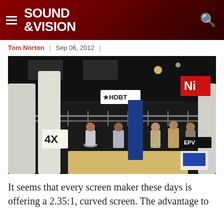SOUND &VISION
Tom Norton | Sep 06, 2012 |
[Figure (photo): Trade show floor photo showing people gathered at an exhibition booth with screens, signage including 'HDBT', '4X', 'EPV', and 'Ni' logos, ceiling truss structures, and large display screens in the background.]
It seems that every screen maker these days is offering a 2.35:1, curved screen. The advantage to